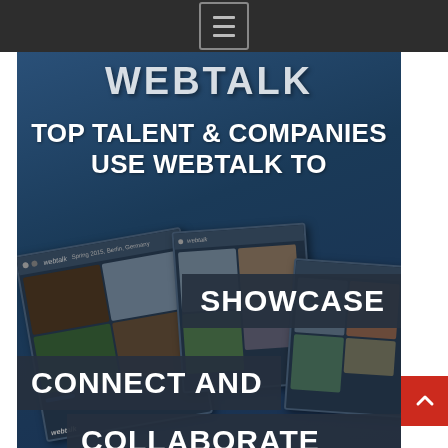Navigation menu icon
[Figure (screenshot): Webtalk promotional banner with dark blue background showing the Webtalk logo at top, large white bold text reading 'TOP TALENT & COMPANIES USE WEBTALK TO', a collage of device screenshots in the middle, and overlaid bold text badges reading 'SHOWCASE', 'CONNECT AND', and 'COLLABORATE' on dark semi-transparent backgrounds. A red scroll-to-top button appears in the lower right.]